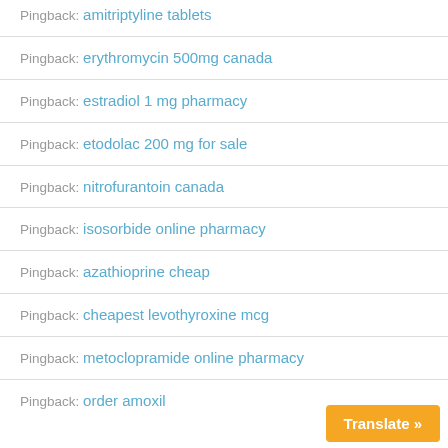Pingback: amitriptyline tablets
Pingback: erythromycin 500mg canada
Pingback: estradiol 1 mg pharmacy
Pingback: etodolac 200 mg for sale
Pingback: nitrofurantoin canada
Pingback: isosorbide online pharmacy
Pingback: azathioprine cheap
Pingback: cheapest levothyroxine mcg
Pingback: metoclopramide online pharmacy
Pingback: order amoxil